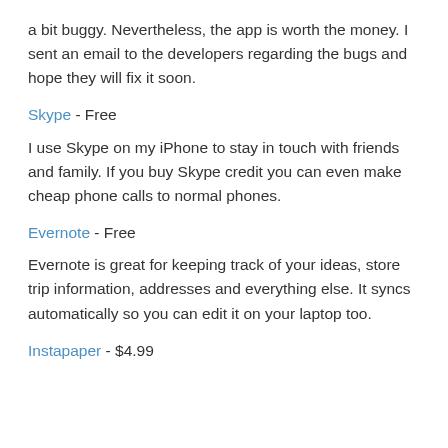a bit buggy. Nevertheless, the app is worth the money. I sent an email to the developers regarding the bugs and hope they will fix it soon.
Skype - Free
I use Skype on my iPhone to stay in touch with friends and family. If you buy Skype credit you can even make cheap phone calls to normal phones.
Evernote - Free
Evernote is great for keeping track of your ideas, store trip information, addresses and everything else. It syncs automatically so you can edit it on your laptop too.
Instapaper - $4.99